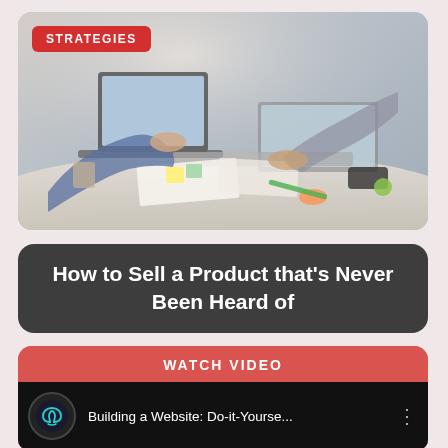[Figure (photo): Photo of people working at a desk with laptops and papers in an office setting. A red badge in the top-left corner reads STRATEGIES.]
How to Sell a Product that's Never Been Heard of
WATCH VIDEO
Building a Website: Do-it-Yourse...